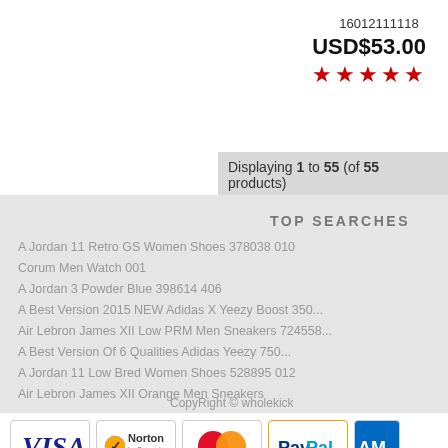16012111118
USD$53.00
★★★★★
Displaying 1 to 55 (of 55 products)
TOP SEARCHES
A Jordan 11 Retro GS Women Shoes 378038 010
Corum Men Watch 001
A Jordan 3 Powder Blue 398614 406
A Best Version 2015 NEW Adidas X Yeezy Boost 350...
Air Lebron James XII Low PRM Men Sneakers 724558...
A Best Version Of 6 Qualities Adidas Yeezy 750...
A Jordan 11 Low Bred Women Shoes 528895 012
Air Lebron James XII Orange Men Sneakers
CU
FAC
Cor
Abo
Priv
Leg
Ne
Site
CopyRight © wholekick
[Figure (logo): VISA payment logo]
[Figure (logo): Norton by Symantec logo]
[Figure (logo): MasterCard logo]
[Figure (logo): PayPal logo]
[Figure (logo): American Express logo (partially visible)]